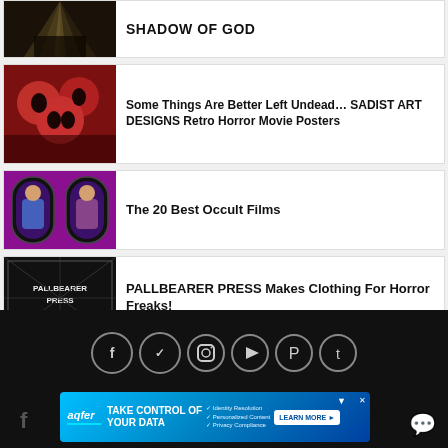[Figure (photo): Dark image with light rays — shadow/god themed thumbnail]
SHADOW OF GOD
[Figure (photo): Horror skulls illustration — retro horror poster art thumbnail]
Some Things Are Better Left Undead… SADIST ART DESIGNS Retro Horror Movie Posters
[Figure (illustration): Two figures in coffin-shaped frames on purple background — occult film thumbnail]
The 20 Best Occult Films
[Figure (photo): Pallbearer Press black and white logo/art thumbnail]
PALLBEARER PRESS Makes Clothing For Horror Freaks!
[Figure (other): Social media icons: Facebook, Twitter, Instagram, YouTube, Pinterest, Tumblr]
[Figure (screenshot): Advertisement banner: TAKE CONTROL OF YOUR DATA — aqfer — Identity Resolution, Personalized Content, Privacy Compliance — LEARN MORE button]